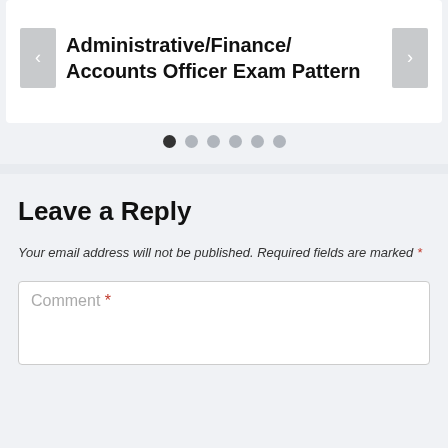Administrative/Finance/ Accounts Officer Exam Pattern
[Figure (other): Slider navigation dots: 6 dots, first one active (dark), rest are light gray]
Leave a Reply
Your email address will not be published. Required fields are marked *
Comment *